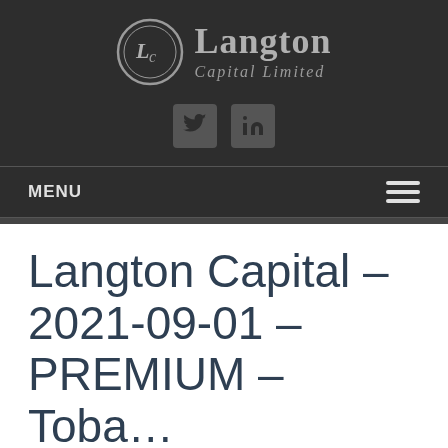[Figure (logo): Langton Capital Limited logo with circular LC monogram and company name]
[Figure (infographic): Social media icons: Twitter and LinkedIn]
MENU
Langton Capital – 2021-09-01 – PREMIUM – Toba...